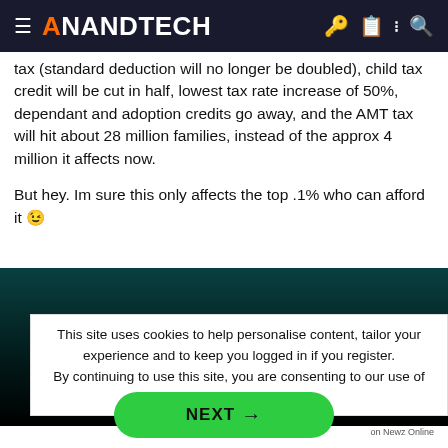≡ ANANDTECH
The tax increases not talked about much are the marriage penalty tax (standard deduction will no longer be doubled), child tax credit will be cut in half, lowest tax rate increase of 50%, dependant and adoption credits go away, and the AMT tax will hit about 28 million families, instead of the approx 4 million it affects now.

But hey. Im sure this only affects the top .1% who can afford it 😉
[Figure (other): Dark teal/black gradient advertisement or video banner area]
This site uses cookies to help personalise content, tailor your experience and to keep you logged in if you register.
By continuing to use this site, you are consenting to our use of cookies.
NEXT →
on Newz Online